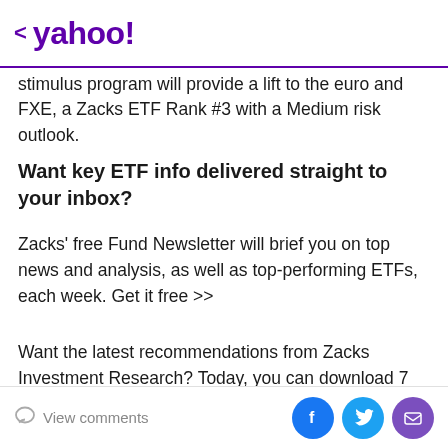< yahoo!
stimulus program will provide a lift to the euro and FXE, a Zacks ETF Rank #3 with a Medium risk outlook.
Want key ETF info delivered straight to your inbox?
Zacks' free Fund Newsletter will brief you on top news and analysis, as well as top-performing ETFs, each week. Get it free >>
Want the latest recommendations from Zacks Investment Research? Today, you can download 7 Best Stocks for the Next 30 Days. Click to get this free report
View comments